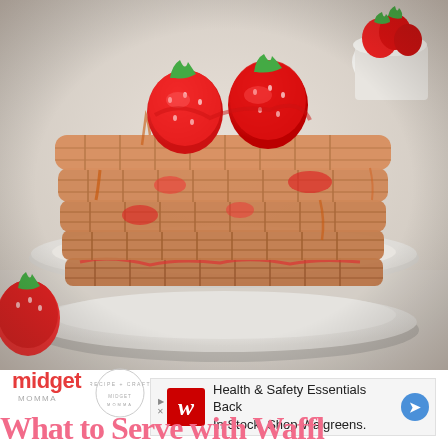[Figure (photo): A stack of strawberry waffles topped with fresh strawberries and syrup, served on a white ceramic plate. Additional strawberries visible around the plate. Light background. Food photography style.]
[Figure (logo): Midget Momma blog logo with red cursive text and circular stamp]
[Figure (other): Walgreens advertisement banner: Health & Safety Essentials Back In Stock. Shop Walgreens. Features Walgreens red W logo and blue arrow navigation button.]
What to Serve with Waffl